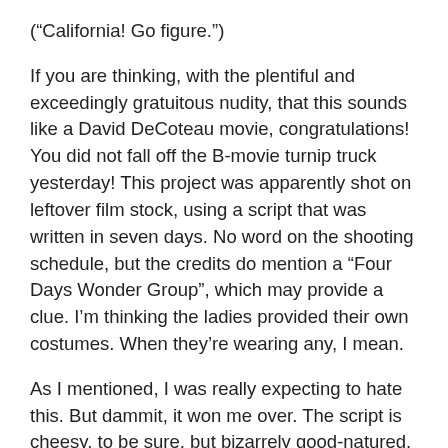(“California! Go figure.”)
If you are thinking, with the plentiful and exceedingly gratuitous nudity, that this sounds like a David DeCoteau movie, congratulations! You did not fall off the B-movie turnip truck yesterday! This project was apparently shot on leftover film stock, using a script that was written in seven days. No word on the shooting schedule, but the credits do mention a “Four Days Wonder Group”, which may provide a clue. I’m thinking the ladies provided their own costumes. When they’re wearing any, I mean.
As I mentioned, I was really expecting to hate this. But dammit, it won me over. The script is cheesy, to be sure, but bizarrely good-natured, seldom mean. Except where the frat boy monster fodder are concerned, but come on, they’re asking for it. The most overt nod to self-awareness